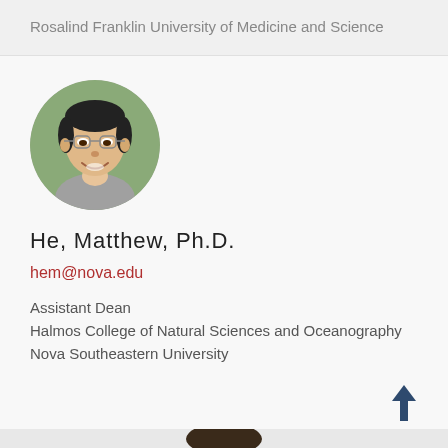Rosalind Franklin University of Medicine and Science
[Figure (photo): Circular headshot photo of Matthew He, Ph.D., an Asian man wearing glasses and smiling, with a green outdoor background]
He, Matthew, Ph.D.
hem@nova.edu
Assistant Dean
Halmos College of Natural Sciences and Oceanography
Nova Southeastern University
[Figure (photo): Partial circular headshot of another person, cropped at bottom of page]